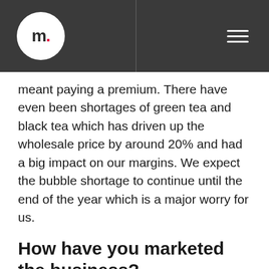m. [logo]
meant paying a premium. There have even been shortages of green tea and black tea which has driven up the wholesale price by around 20% and had a big impact on our margins. We expect the bubble shortage to continue until the end of the year which is a major worry for us.
How have you marketed the business?
We haven't embarked on any paid for marketing to date as our loyal customer base has proven to be the most effective marketing channel! Our customers have helped us to build a strong presence on